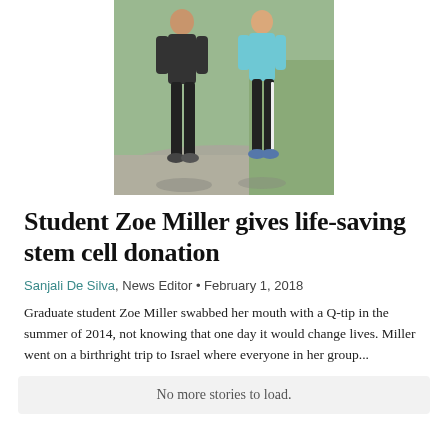[Figure (photo): Two people standing outdoors, one wearing a red/orange top and one wearing a light blue top, both in black pants, on a path with grass in the background.]
Student Zoe Miller gives life-saving stem cell donation
Sanjali De Silva, News Editor • February 1, 2018
Graduate student Zoe Miller swabbed her mouth with a Q-tip in the summer of 2014, not knowing that one day it would change lives. Miller went on a birthright trip to Israel where everyone in her group...
No more stories to load.